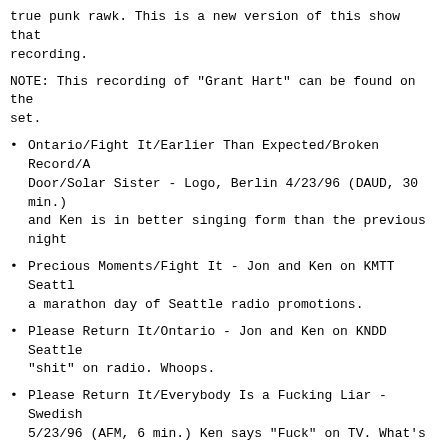true punk rawk. This is a new version of this show that recording.
NOTE: This recording of "Grant Hart" can be found on the set.
Ontario/Fight It/Earlier Than Expected/Broken Record/A Door/Solar Sister - Logo, Berlin 4/23/96 (DAUD, 30 min.) and Ken is in better singing form than the previous night
Precious Moments/Fight It - Jon and Ken on KMTT Seattle a marathon day of Seattle radio promotions.
Please Return It/Ontario - Jon and Ken on KNDD Seattle “shit” on radio. Whoops.
Please Return It/Everybody Is a Fucking Liar - Swedish 5/23/96 (AFM, 6 min.) Ken says “Fuck” on TV. What’s up w Ragged performance too.
Throwaway/Please Return It/Going, Going, Gone/Golden B Flavor of the Month/Ontario/Everyone Moves Away - Jon and 35 min.) With studio audience, Jon and Ken sound tired b
Dream All Day/Ontario/Suddenly Mary/Love Letter Boxes/ Return It/You Avoid Parties/Coming Right Along/Any Other Fucking Liar/Grant Hart/Flavor of the Month/Solar Sister, 6/1/96 (DAUD, 71 min.) Just when you think you’ve got ev Great recording quality and a fierce performance of the A